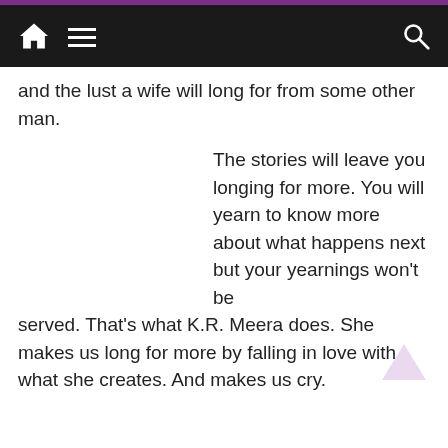and the lust a wife will long for from some other man.
The stories will leave you longing for more. You will yearn to know more about what happens next but your yearnings won't be served. That's what K.R. Meera does. She makes us long for more by falling in love with what she creates. And makes us cry.